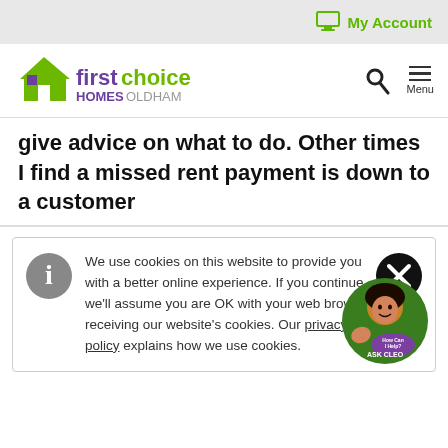My Account
[Figure (logo): First Choice Homes Oldham logo with green house icon]
give advice on what to do. Other times I find a missed rent payment is down to a customer
We use cookies on this website to provide you with a better online experience. If you continue, we'll assume you are OK with your web browser receiving our website's cookies. Our privacy policy explains how we use cookies.